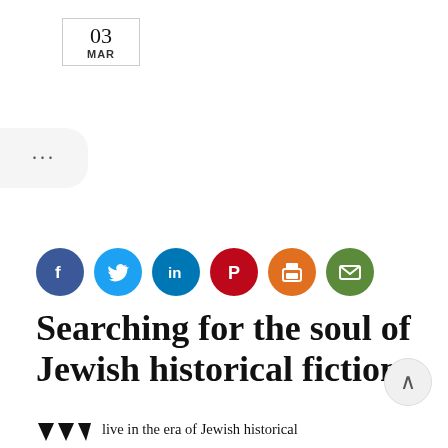03 MAR
[Figure (other): Ellipsis (more options) button]
[Figure (other): Social sharing icons: Facebook, Twitter, LinkedIn, Pinterest, Print, Email]
Searching for the soul of Jewish historical fiction
live in the era of Jewish historical